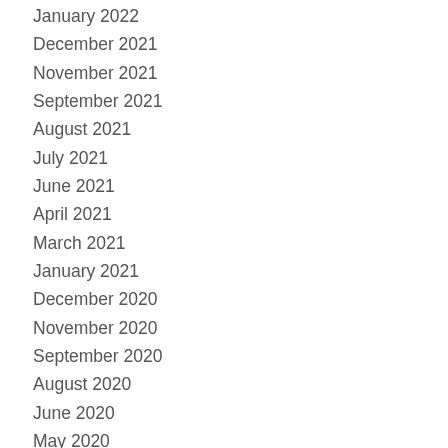January 2022
December 2021
November 2021
September 2021
August 2021
July 2021
June 2021
April 2021
March 2021
January 2021
December 2020
November 2020
September 2020
August 2020
June 2020
May 2020
April 2020
March 2020
February 2020